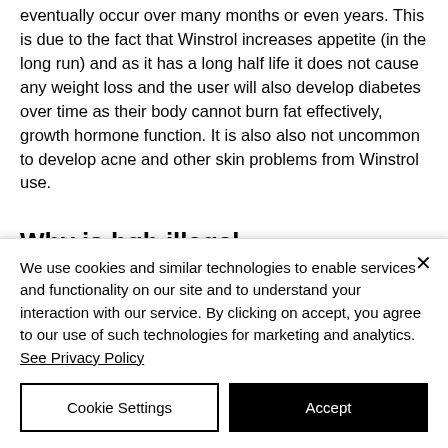eventually occur over many months or even years. This is due to the fact that Winstrol increases appetite (in the long run) and as it has a long half life it does not cause any weight loss and the user will also develop diabetes over time as their body cannot burn fat effectively, growth hormone function. It is also also not uncommon to develop acne and other skin problems from Winstrol use.
Why is hgh illegal
We use cookies and similar technologies to enable services and functionality on our site and to understand your interaction with our service. By clicking on accept, you agree to our use of such technologies for marketing and analytics. See Privacy Policy